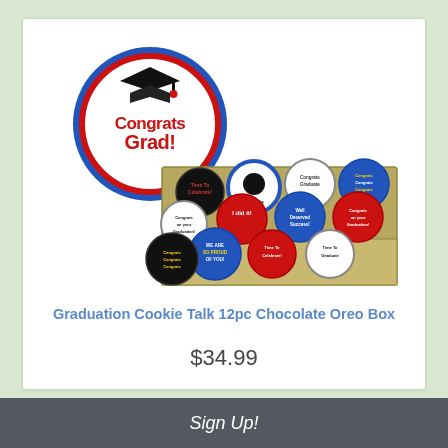[Figure (photo): A box of 12 graduation-themed chocolate Oreo cookies decorated with colorful graduation messages like 'Congrats Grad!', 'Time to Celebrate', 'Well Deserved Success!', 'We Are So Proud of You!', etc. A large circular Congrats Grad sticker with a graduation cap is shown above the box.]
Graduation Cookie Talk 12pc Chocolate Oreo Box
$34.99
Sign Up!